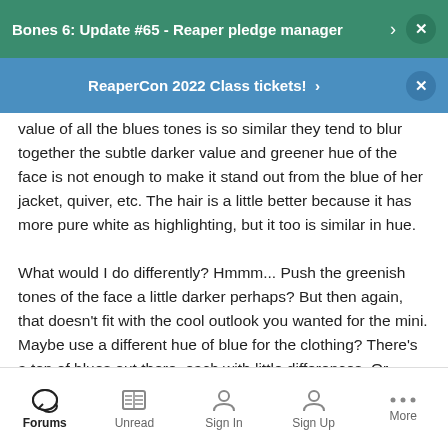Bones 6: Update #65 - Reaper pledge manager
ReaperCon 2022 Class tickets!
value of all the blues tones is so similar they tend to blur together the subtle darker value and greener hue of the face is not enough to make it stand out from the blue of her jacket, quiver, etc. The hair is a little better because it has more pure white as highlighting, but it too is similar in hue.

What would I do differently? Hmmm... Push the greenish tones of the face a little darker perhaps? But then again, that doesn't fit with the cool outlook you wanted for the mini. Maybe use a different hue of blue for the clothing? There's a ton of blues out there, each with little differences. Or perhaps add some grey to incorporate a neutral color, while letting her skintones remain pure in hue.
Forums | Unread | Sign In | Sign Up | More